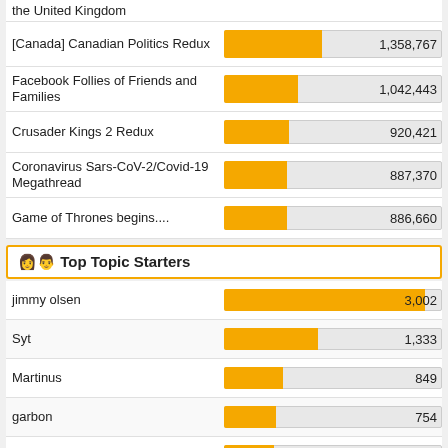the United Kingdom
[Figure (bar-chart): Top Topics (partial)]
Top Topic Starters
[Figure (bar-chart): Top Topic Starters]